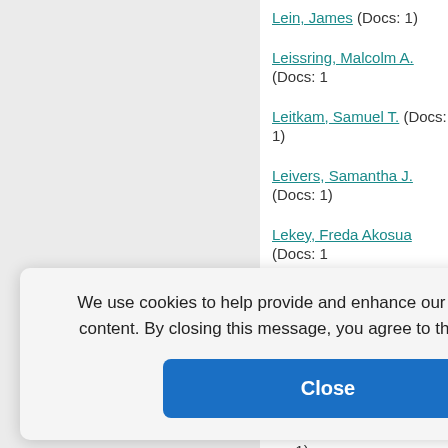Lein, James (Docs: 1)
Leissring, Malcolm A. (Docs: 1)
Leitkam, Samuel T. (Docs: 1)
Leivers, Samantha J. (Docs: 1)
Lekey, Freda Akosua (Docs: 1)
Lekey, Freda (Docs: 1)
Lemelin, Pierre (Docs: 1)
(Docs: 1)
)
cs: 1)
osé Mariá (D
)
We use cookies to help provide and enhance our service and tailor content. By closing this message, you agree to the use of cookies.